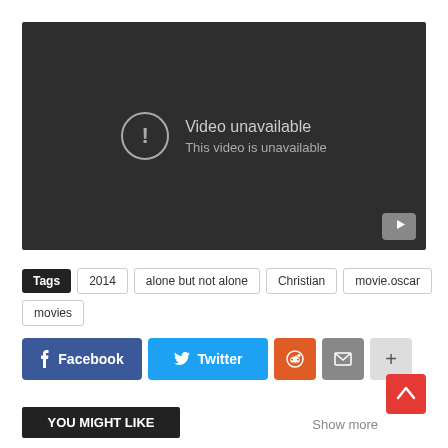[Figure (screenshot): Video player showing 'Video unavailable - This video is unavailable' error message with YouTube logo in bottom right corner on dark background]
Tags  2014  alone but not alone  Christian  movie.oscar  movies
[Figure (infographic): Social share buttons: Facebook (blue), Twitter (cyan), Reddit (orange), Email (grey), More/Plus (light grey)]
YOU MIGHT LIKE
Show more